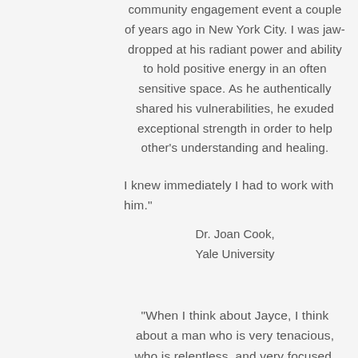community engagement event a couple of years ago in New York City. I was jaw-dropped at his radiant power and ability to hold positive energy in an often sensitive space. As he authentically shared his vulnerabilities, he exuded exceptional strength in order to help other's understanding and healing.
I knew immediately I had to work with him."
Dr. Joan Cook,
Yale University
"When I think about Jayce, I think about a man who is very tenacious, who is relentless, and very focused. Jayce is centered and